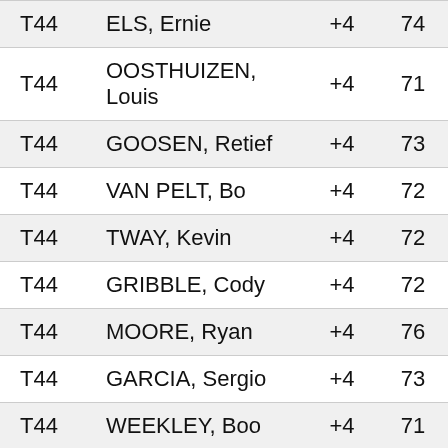| Pos | Player | Score | R1 | R2 | Total |
| --- | --- | --- | --- | --- | --- |
| T44 | ELS, Ernie | +4 | 74 | 70 | 144 |
| T44 | OOSTHUIZEN, Louis | +4 | 71 | 73 | 144 |
| T44 | GOOSEN, Retief | +4 | 73 | 71 | 144 |
| T44 | VAN PELT, Bo | +4 | 72 | 72 | 144 |
| T44 | TWAY, Kevin | +4 | 72 | 72 | 144 |
| T44 | GRIBBLE, Cody | +4 | 72 | 72 | 144 |
| T44 | MOORE, Ryan | +4 | 76 | 68 | 144 |
| T44 | GARCIA, Sergio | +4 | 73 | 71 | 144 |
| T44 | WEEKLEY, Boo | +4 | 71 | 73 | 144 |
| T44 | FITZPATRICK, Matthew (a) | +4 | 71 | 73 | 144 |